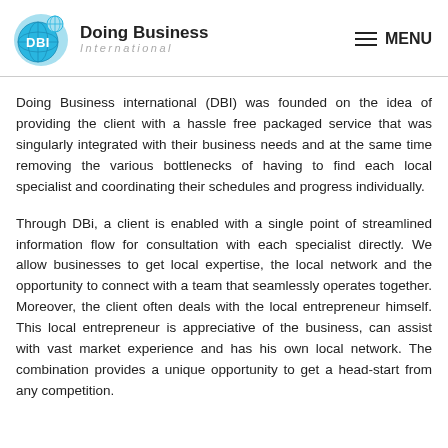Doing Business International — MENU
Doing Business international (DBI) was founded on the idea of providing the client with a hassle free packaged service that was singularly integrated with their business needs and at the same time removing the various bottlenecks of having to find each local specialist and coordinating their schedules and progress individually.
Through DBi, a client is enabled with a single point of streamlined information flow for consultation with each specialist directly. We allow businesses to get local expertise, the local network and the opportunity to connect with a team that seamlessly operates together. Moreover, the client often deals with the local entrepreneur himself. This local entrepreneur is appreciative of the business, can assist with vast market experience and has his own local network. The combination provides a unique opportunity to get a head-start from any competition.